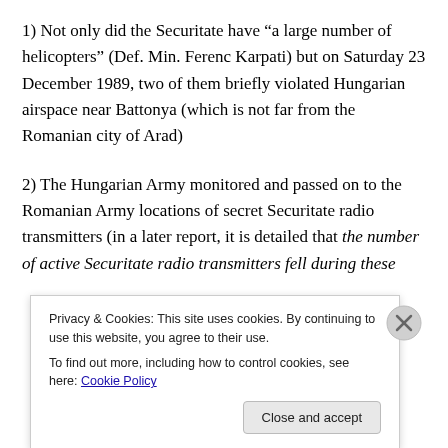1) Not only did the Securitate have “a large number of helicopters” (Def. Min. Ferenc Karpati) but on Saturday 23 December 1989, two of them briefly violated Hungarian airspace near Battonya (which is not far from the Romanian city of Arad)
2) The Hungarian Army monitored and passed on to the Romanian Army locations of secret Securitate radio transmitters (in a later report, it is detailed that the number of active Securitate radio transmitters fell during these
Privacy & Cookies: This site uses cookies. By continuing to use this website, you agree to their use.
To find out more, including how to control cookies, see here: Cookie Policy